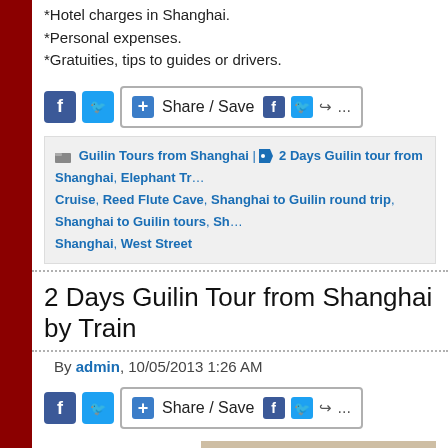*Hotel charges in Shanghai.
*Personal expenses.
*Gratuities, tips to guides or drivers.
[Figure (screenshot): Share/Save social media buttons with Facebook and Twitter icons]
Guilin Tours from Shanghai | 2 Days Guilin tour from Shanghai, Elephant Trunk Hill, Li River Cruise, Reed Flute Cave, Shanghai to Guilin round trip, Shanghai to Guilin tours, Shanghai, West Street
2 Days Guilin Tour from Shanghai by Train
By admin, 10/05/2013 1:26 AM
[Figure (screenshot): Share/Save social media buttons with Facebook and Twitter icons]
[Figure (photo): Photo of Guilin karst mountains landscape]